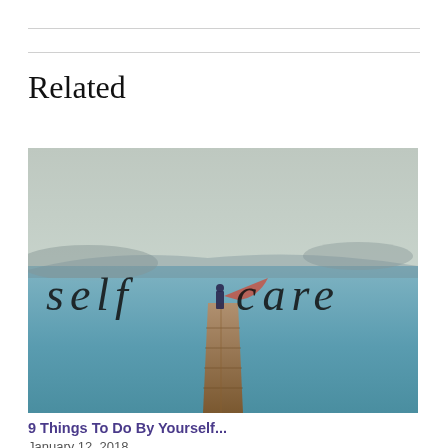Related
[Figure (photo): A person standing on a wooden dock extending over a calm blue sea, with mountains in the background and the italic text 'self care' overlaid across the image in large letters.]
9 Things To Do By Yourself...
January 12, 2018
IN "PERSONAL-DEVELOPMENT"